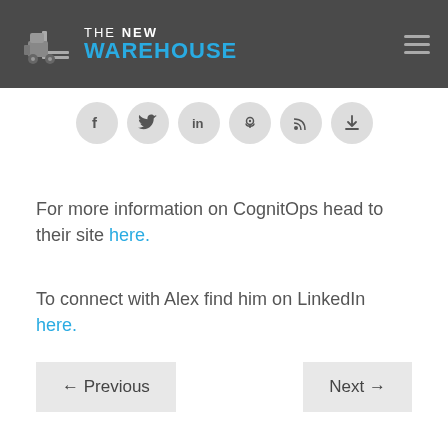The New Warehouse
[Figure (logo): The New Warehouse logo with forklift icon and blue/white text]
[Figure (infographic): Social media icons row: Facebook, Twitter, LinkedIn, Podcast, RSS, Download]
For more information on CognitOps head to their site here.
To connect with Alex find him on LinkedIn here.
← Previous
Next →